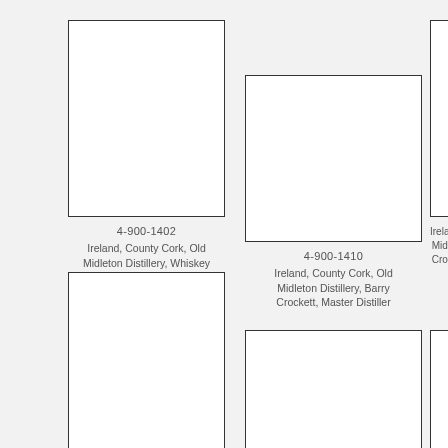[Figure (photo): Photo placeholder box, top-left, for item 4-900-1402]
4-900-1402
Ireland, County Cork, Old Midleton Distillery, Whiskey barrels
[Figure (photo): Photo placeholder box, top-center, for item 4-900-1410]
4-900-1410
Ireland, County Cork, Old Midleton Distillery, Barry Crockett, Master Distiller
[Figure (photo): Photo placeholder box, top-right, partially cropped]
Irela... Mid... Cro...
[Figure (photo): Photo placeholder box, bottom-left]
[Figure (photo): Photo placeholder box, bottom-center]
[Figure (photo): Photo placeholder box, bottom-right, partially cropped]